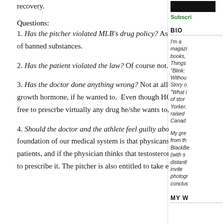recovery.
Questions:
1. Has the pitcher violated MLB's drug policy? As far as I can tell, yes. Testosterone is on baseball's list of banned substances.
2. Has the patient violated the law? Of course not. Testosterone is an FDA approved medication.
3. Has the doctor done anything wrong? Not at all. The doctor could also have prescribed human growth hormone, if he wanted to. Even though HGH is not approved for injury recovery, a physician is free to prescrbe virtually any drug he/she wants to, in an off-label manner.
4. Should the doctor and the athlete feel guilty about what they've done? I don't see why. The foundation of our medical system is that physicans have broad leeway to act in the best interests of their patients, and if the physician thinks that testosterone might help the athlete he's entirely within his rights to prescribe it. The pitcher is also entitled to take every step he can to regain his health. Surely it is
BIO
I'm a magazine books, Things "Blink: Without Story o "What i of stor Yorker. raised Canad
My gre from th BlackBe (with s distanti invite photogr conclus
MY W